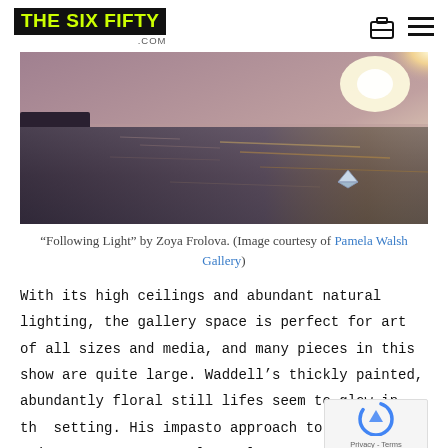THE SIX FIFTY .COM
[Figure (photo): A painting showing a dark reflective water surface with a small blue paper boat, and a bright glowing light source in the upper right corner against a hazy atmospheric background.]
“Following Light” by Zoya Frolova. (Image courtesy of Pamela Walsh Gallery)
With its high ceilings and abundant natural lighting, the gallery space is perfect for art of all sizes and media, and many pieces in this show are quite large. Waddell’s thickly painted, abundantly floral still lifes seem to glow in the setting. His impasto approach to applying paint seems sculptural, even as it adheres to canvas. Although flowers are